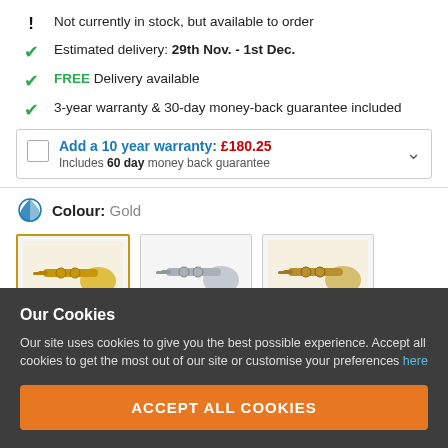! Not currently in stock, but available to order
✓ Estimated delivery: 29th Nov. - 1st Dec.
✓ FREE Delivery available
✓ 3-year warranty & 30-day money-back guarantee included
Add a 10 year warranty: £180.25 Includes 60 day money back guarantee
Colour: Gold
[Figure (photo): Three trumpet images: gold/lacquer finish (selected with orange border), silver finish, and lacquer finish]
Our Cookies
Our site uses cookies to give you the best possible experience. Accept all cookies to get the most out of our site or customise your preferences here
ACCEPT ALL COOKIES